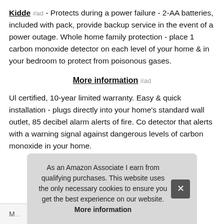Kidde #ad - Protects during a power failure - 2-AA batteries, included with pack, provide backup service in the event of a power outage. Whole home family protection - place 1 carbon monoxide detector on each level of your home & in your bedroom to protect from poisonous gases.
More information #ad
Ul certified, 10-year limited warranty. Easy & quick installation - plugs directly into your home's standard wall outlet, 85 decibel alarm alerts of fire. Co detector that alerts with a warning signal against dangerous levels of carbon monoxide in your home.
As an Amazon Associate I earn from qualifying purchases. This website uses the only necessary cookies to ensure you get the best experience on our website. More information